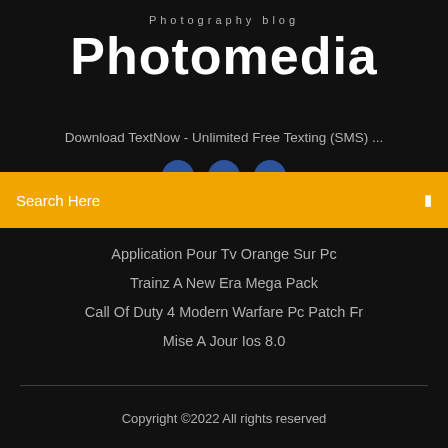Photography blog
Photomedia
Download TextNow - Unlimited Free Texting (SMS) ...
Search Here
Application Pour Tv Orange Sur Pc
Trainz A New Era Mega Pack
Call Of Duty 4 Modern Warfare Pc Patch Fr
Mise A Jour Ios 8.0
Copyright ©2022 All rights reserved